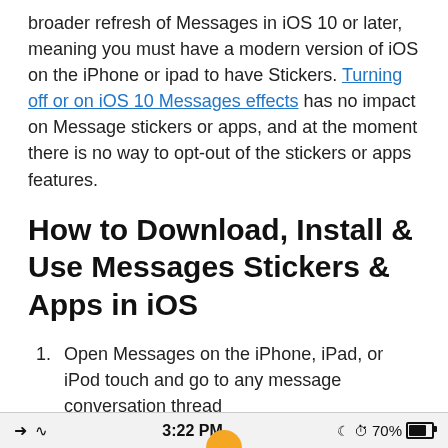broader refresh of Messages in iOS 10 or later, meaning you must have a modern version of iOS on the iPhone or ipad to have Stickers. Turning off or on iOS 10 Messages effects has no impact on Message stickers or apps, and at the moment there is no way to opt-out of the stickers or apps features.
How to Download, Install & Use Messages Stickers & Apps in iOS
Open Messages on the iPhone, iPad, or iPod touch and go to any message conversation thread
Tap on the “>” arrow button next to the iMessage text entry field
3:22 PM   70%